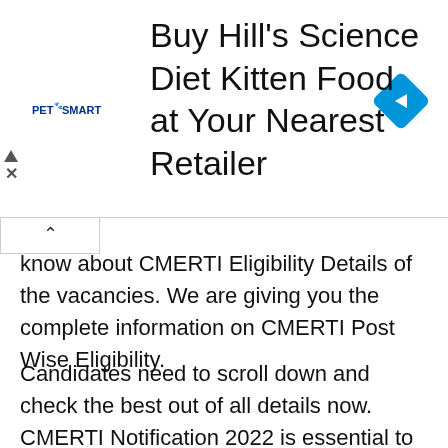[Figure (other): PetSmart advertisement banner: 'Buy Hill's Science Diet Kitten Food at Your Nearest Retailer' with PetSmart logo and navigation diamond icon]
know about CMERTI Eligibility Details of the vacancies. We are giving you the complete information on CMERTI Post Wise Eligibility.
Candidates need to scroll down and check the best out of all details now. CMERTI Notification 2022 is essential to know, so be aware all the time to know that.
There are so much information that will be shared with you guys regarding CMERTI Recruitment 2022. You may check updates from here only.